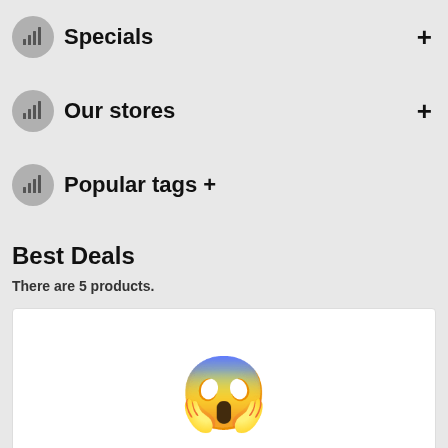Specials
Our stores
Popular tags
Best Deals
There are 5 products.
[Figure (illustration): Screaming face emoji (😱) displayed in a white product card box]